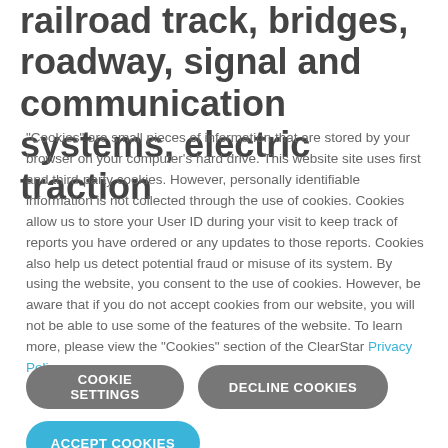railroad track, bridges, roadway, signal and communication systems, electric traction
“Cookies” are small pieces of information that are stored by your browser on your computer’s hard drive. This website site uses first and third-party cookies. However, personally identifiable information is not collected through the use of cookies. Cookies allow us to store your User ID during your visit to keep track of reports you have ordered or any updates to those reports. Cookies also help us detect potential fraud or misuse of its system. By using the website, you consent to the use of cookies. However, be aware that if you do not accept cookies from our website, you will not be able to use some of the features of the website. To learn more, please view the “Cookies” section of the ClearStar Privacy Policy.
COOKIE SETTINGS
DECLINE COOKIES
ACCEPT COOKIES